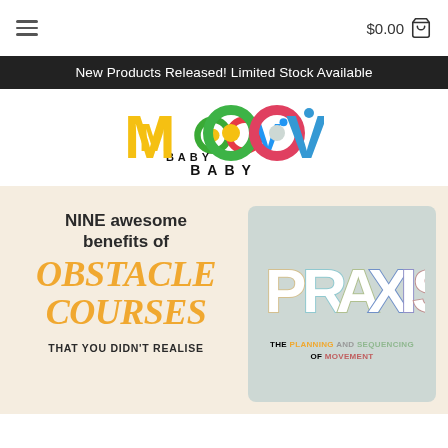$0.00
New Products Released! Limited Stock Available
[Figure (logo): MOOV BABY logo with colorful letters M, O, O, V in yellow, green/orange, red/pink, and blue, with BABY in bold black beneath]
[Figure (infographic): Two promotional content blocks: left block on cream background with text 'NINE awesome benefits of OBSTACLE COURSES THAT YOU DIDN'T REALISE'; right block on sage green background with stylized 'PRAXIS' text and subtitle 'THE PLANNING AND SEQUENCING OF MOVEMENT']